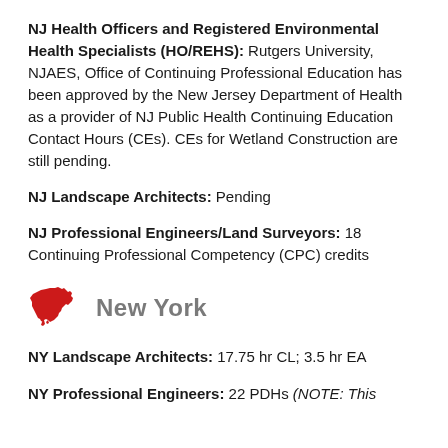NJ Health Officers and Registered Environmental Health Specialists (HO/REHS): Rutgers University, NJAES, Office of Continuing Professional Education has been approved by the New Jersey Department of Health as a provider of NJ Public Health Continuing Education Contact Hours (CEs). CEs for Wetland Construction are still pending.
NJ Landscape Architects: Pending
NJ Professional Engineers/Land Surveyors: 18 Continuing Professional Competency (CPC) credits
[Figure (illustration): Red silhouette map of New York state with gray bold 'New York' text label]
NY Landscape Architects: 17.75 hr CL; 3.5 hr EA
NY Professional Engineers: 22 PDHs (NOTE: This